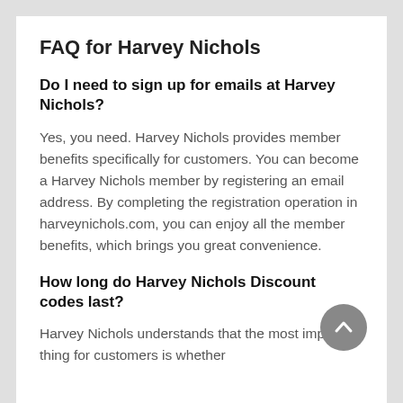FAQ for Harvey Nichols
Do I need to sign up for emails at Harvey Nichols?
Yes, you need. Harvey Nichols provides member benefits specifically for customers. You can become a Harvey Nichols member by registering an email address. By completing the registration operation in harveynichols.com, you can enjoy all the member benefits, which brings you great convenience.
How long do Harvey Nichols Discount codes last?
Harvey Nichols understands that the most important thing for customers is whether